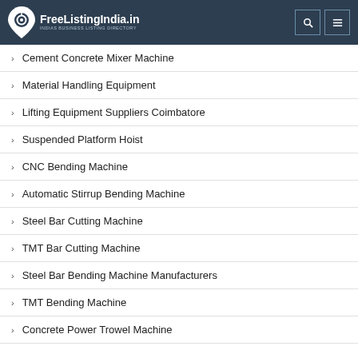FreeListingIndia.in — INDIAS BUSINESS LISTING DIRECTORY
Cement Concrete Mixer Machine
Material Handling Equipment
Lifting Equipment Suppliers Coimbatore
Suspended Platform Hoist
CNC Bending Machine
Automatic Stirrup Bending Machine
Steel Bar Cutting Machine
TMT Bar Cutting Machine
Steel Bar Bending Machine Manufacturers
TMT Bending Machine
Concrete Power Trowel Machine